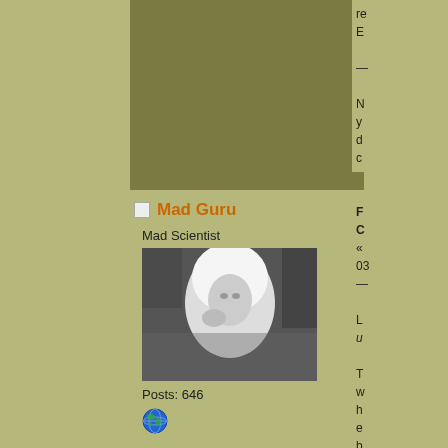[Figure (photo): Top area: olive/khaki background panel taking up left and center-top of page. Right column partially visible with truncated text.]
re
E
—
N
y
d
c
Mad Guru
Mad Scientist
[Figure (photo): Black and white photo of a person wearing a white hood/robe, looking to the side, with foliage in background.]
Posts: 646
[Figure (illustration): Small globe/world icon in green and blue]
F
C
«
03
—
L
u

T
w
h
e
b
n